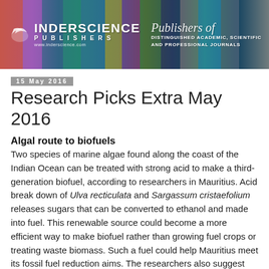[Figure (illustration): Inderscience Publishers banner with colorful book spines, logo, and tagline 'Distinguished Academic, Scientific and Professional Journals']
15 May 2016
Research Picks Extra May 2016
Algal route to biofuels
Two species of marine algae found along the coast of the Indian Ocean can be treated with strong acid to make a third-generation biofuel, according to researchers in Mauritius. Acid break down of Ulva recticulata and Sargassum cristaefolium releases sugars that can be converted to ethanol and made into fuel. This renewable source could become a more efficient way to make biofuel rather than growing fuel crops or treating waste biomass. Such a fuel could help Mauritius meet its fossil fuel reduction aims. The researchers also suggest that there might be applications for the by-products of the process too and this